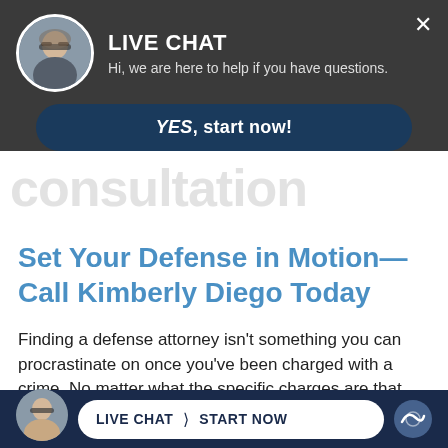[Figure (screenshot): Live chat popup overlay with avatar photo of woman with glasses, title LIVE CHAT, subtitle text, YES start now button, and bottom chat bar]
consultation
Set Your Defense in Motion—Call Kimberly Diego Today
Finding a defense attorney isn't something you can procrastinate on once you've been charged with a crime. No matter what the specific charges are that you face, you need to take your case seriously and...